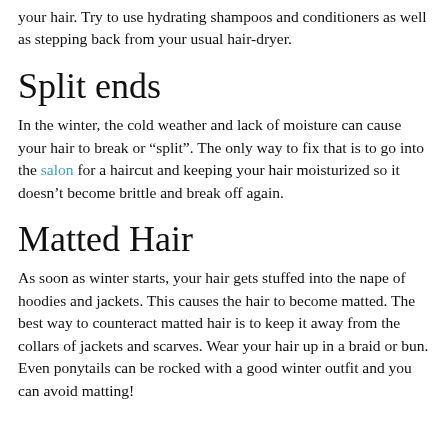your hair. Try to use hydrating shampoos and conditioners as well as stepping back from your usual hair-dryer.
Split ends
In the winter, the cold weather and lack of moisture can cause your hair to break or “split”. The only way to fix that is to go into the salon for a haircut and keeping your hair moisturized so it doesn’t become brittle and break off again.
Matted Hair
As soon as winter starts, your hair gets stuffed into the nape of hoodies and jackets. This causes the hair to become matted. The best way to counteract matted hair is to keep it away from the collars of jackets and scarves. Wear your hair up in a braid or bun. Even ponytails can be rocked with a good winter outfit and you can avoid matting!